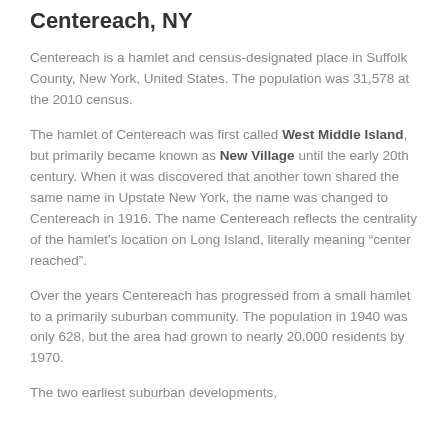Centereach, NY
Centereach is a hamlet and census-designated place in Suffolk County, New York, United States. The population was 31,578 at the 2010 census.
The hamlet of Centereach was first called West Middle Island, but primarily became known as New Village until the early 20th century. When it was discovered that another town shared the same name in Upstate New York, the name was changed to Centereach in 1916. The name Centereach reflects the centrality of the hamlet's location on Long Island, literally meaning “center reached”.
Over the years Centereach has progressed from a small hamlet to a primarily suburban community. The population in 1940 was only 628, but the area had grown to nearly 20,000 residents by 1970.
The two earliest suburban developments,